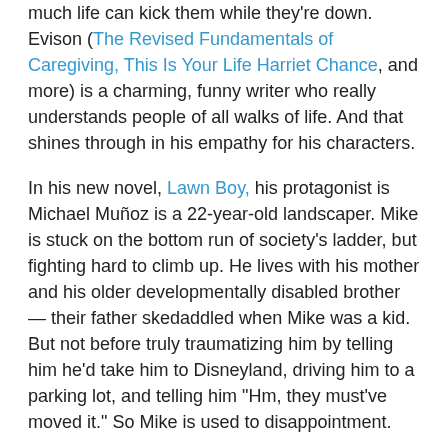much life can kick them while they're down. Evison (The Revised Fundamentals of Caregiving, This Is Your Life Harriet Chance, and more) is a charming, funny writer who really understands people of all walks of life. And that shines through in his empathy for his characters.
In his new novel, Lawn Boy, his protagonist is Michael Muñoz is a 22-year-old landscaper. Mike is stuck on the bottom run of society's ladder, but fighting hard to climb up. He lives with his mother and his older developmentally disabled brother — their father skedaddled when Mike was a kid. But not before truly traumatizing him by telling him he'd take him to Disneyland, driving him to a parking lot, and telling him "Hm, they must've moved it." So Mike is used to disappointment.
One of the things that immediately endears you to Mike is that he truly enjoys being a landscaper — he has a really talent for topiary. He takes pride in a profession society sort of deems a job for folks on the lower-tier. But that doesn't mean he doesn't have big dreams — for instance, he plans to write the Great American Landscaping Novel. If you need